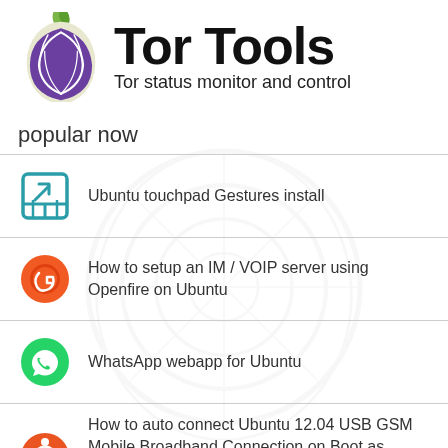[Figure (logo): Tor Tools logo: onion graphic with green leaf on top, purple and white coloring, next to bold 'Tor Tools' title text and subtitle 'Tor status monitor and control']
popular now
Ubuntu touchpad Gestures install
How to setup an IM / VOIP server using Openfire on Ubuntu
WhatsApp webapp for Ubuntu
How to auto connect Ubuntu 12.04 USB GSM Mobile Broadband Connection on Boot as startup service without user login using Network Manager CLi
How to setup a USB 3G Modem on Raspberry Pi using